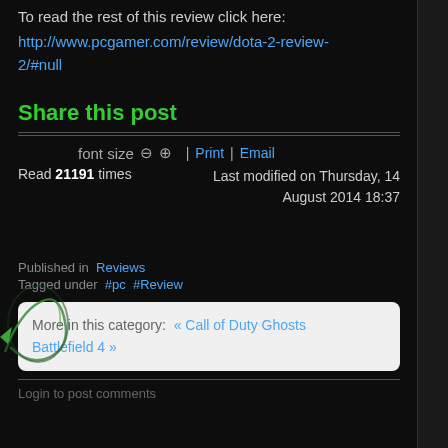To read the rest of this review click here:
http://www.pcgamer.com/review/dota-2-review-2/#null
Share this post
font size  |  Print  |  Email
Read 21191 times    Last modified on Thursday, 14 August 2014 18:37
Published in  Reviews
Tagged under  #pc  #Review
More in this category:  « Call of Duty Ghosts  Battlefield 4 »
Login to post comments